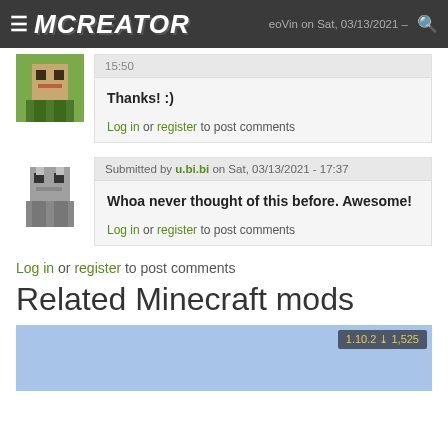MCREATOR — eoVin on Sat, 03/13/2021 - 15:50
Thanks! :)
Log in or register to post comments
Submitted by u.bi.bi on Sat, 03/13/2021 - 17:37
Whoa never thought of this before. Awesome!
Log in or register to post comments
Log in or register to post comments
Related Minecraft mods
[Figure (screenshot): Minecraft mod preview image with version badge showing 1.10.2 and download count 1,525]